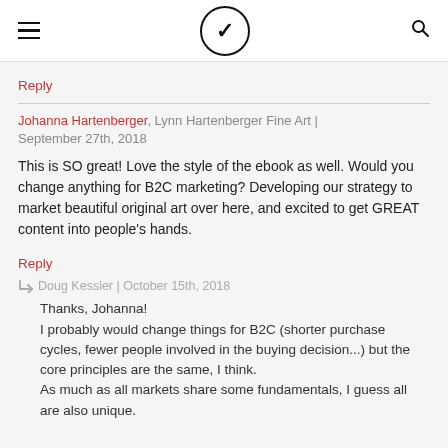Velocity Partners logo header with hamburger menu and search icon
Reply
Johanna Hartenberger, Lynn Hartenberger Fine Art | September 27th, 2018
This is SO great! Love the style of the ebook as well. Would you change anything for B2C marketing? Developing our strategy to market beautiful original art over here, and excited to get GREAT content into people's hands.
Reply
↳ Doug Kessler | October 15th, 2018
Thanks, Johanna!
I probably would change things for B2C (shorter purchase cycles, fewer people involved in the buying decision...) but the core principles are the same, I think.
As much as all markets share some fundamentals, I guess all are also unique.